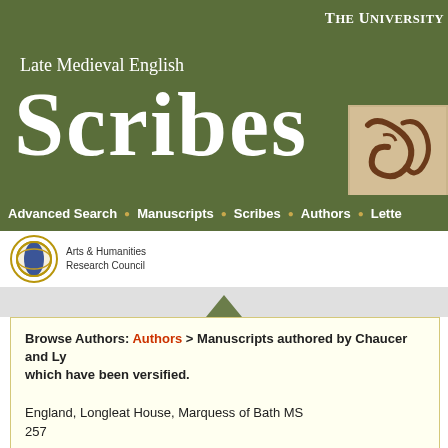THE UNIVERSITY
Late Medieval English Scribes
[Figure (illustration): Manuscript image showing handwritten medieval letterforms on parchment, brown tones]
Advanced Search • Manuscripts • Scribes • Authors • Lette
[Figure (logo): Arts & Humanities Research Council circular logo with blue globe]
Arts & Humanities Research Council
Find W
Browse Authors: Authors > Manuscripts authored by Chaucer and Ly which have been versified.
England, Longleat House, Marquess of Bath MS 257